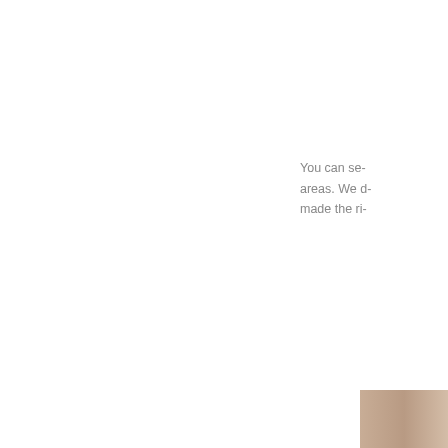You can se- areas. We d- made the ri-
[Figure (photo): Partial view of a book or printed publication spine/edge, showing a warm beige/tan colored cover, cropped at the right edge of the page.]